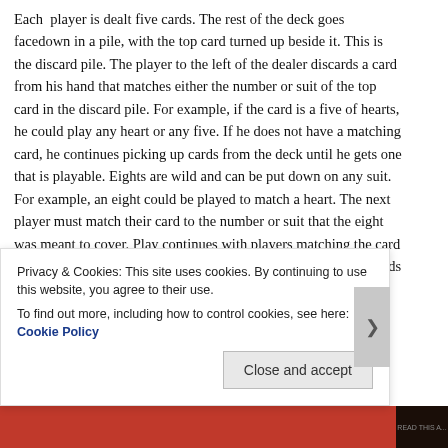Each player is dealt five cards. The rest of the deck goes facedown in a pile, with the top card turned up beside it. This is the discard pile. The player to the left of the dealer discards a card from his hand that matches either the number or suit of the top card in the discard pile. For example, if the card is a five of hearts, he could play any heart or any five. If he does not have a matching card, he continues picking up cards from the deck until he gets one that is playable. Eights are wild and can be put down on any suit. For example, an eight could be played to match a heart. The next player must match their card to the number or suit that the eight was meant to cover. Play continues with players matching the card at the top of the discard pile. The first player to use up all his cards wins. If
Privacy & Cookies: This site uses cookies. By continuing to use this website, you agree to their use.
To find out more, including how to control cookies, see here: Cookie Policy
Close and accept